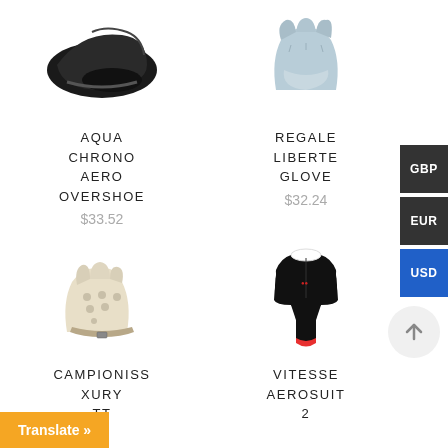[Figure (photo): Black cycling overshoe product image]
AQUA CHRONO AERO OVERSHOE
$33.52
[Figure (photo): Light blue cycling glove product image]
REGALE LIBERTE GLOVE
$32.24
[Figure (photo): Cream/beige fingerless cycling glove product image]
CAMPIONISS XURY TT
[Figure (photo): Black cycling aerosuit with white and red accents]
VITESSE AEROSUIT 2
GBP
EUR
USD
Translate »